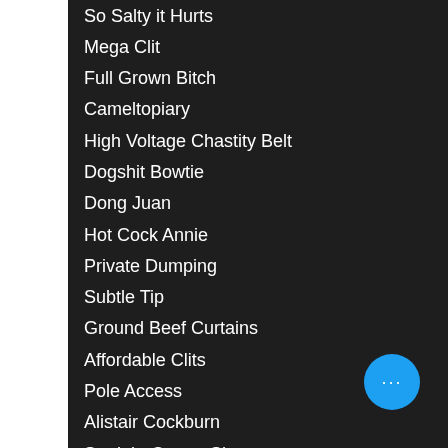So Salty it Hurts
Mega Clit
Full Grown Bitch
Cameltopiary
High Voltage Chastity Belt
Dogshit Bowtie
Dong Juan
Hot Cock Annie
Private Dumping
Subtle Tip
Ground Beef Curtains
Affordable Clits
Pole Access
Alistair Cockburn
Straight Cooter Shot
Archer Slit
Chommin' in to Work
Saliva of a Teenager
Recyclable Chomme
Dungeons & Drag Queens